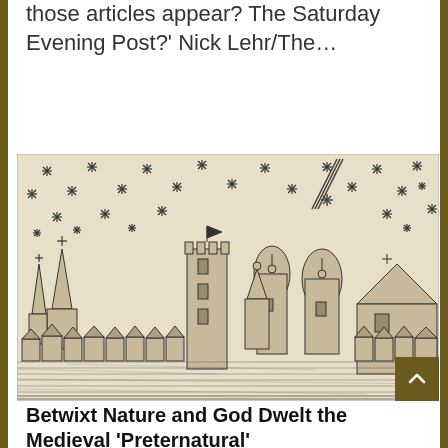those articles appear? The Saturday Evening Post?' Nick Lehr/The…
Read More
[Figure (illustration): Historical woodcut or engraving depicting a medieval city skyline with church spires, towers, and onion domes under a sky filled with asterisk-style stars and a comet or streaking object. Buildings and rooftops line a waterfront.]
Betwixt Nature and God Dwelt the Medieval 'Preternatural'